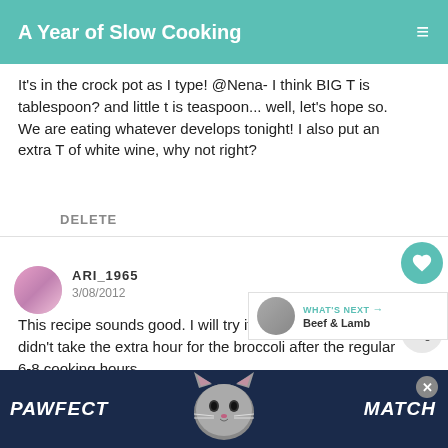A Year of Slow Cooking
It's in the crock pot as I type! @Nena- I think BIG T is tablespoon? and little t is teaspoon... well, let's hope so. We are eating whatever develops tonight! I also put an extra T of white wine, why not right?
DELETE
ARI_1965
3/08/2012
This recipe sounds good. I will try it. However, I wish it didn't take the extra hour for the broccoli after the regular 6-8 cooking hours
[Figure (infographic): PAWFECT MATCH advertisement banner with a cat image]
WHAT'S NEXT → Beef & Lamb